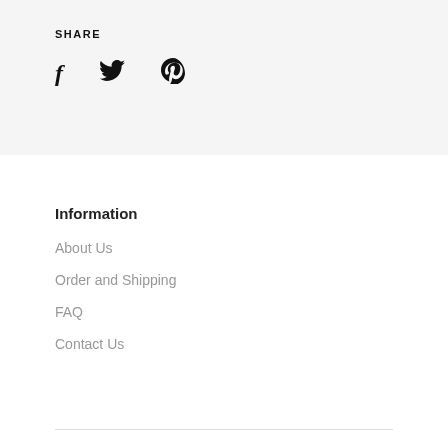SHARE
[Figure (illustration): Social media share icons: Facebook (f), Twitter (bird), Pinterest (p)]
Information
About Us
Order and Shipping
FAQ
Contact Us